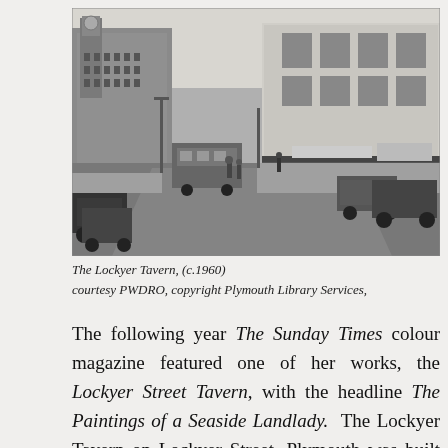[Figure (photo): Black and white photograph of Lockyer Tavern street scene, circa 1960, showing a busy street with cars, buses, and buildings including what appears to be a clock tower on the left and commercial buildings on the right.]
The Lockyer Tavern, (c.1960)
courtesy PWDRO, copyright Plymouth Library Services,
The following year The Sunday Times colour magazine featured one of her works, the Lockyer Street Tavern, with the headline The Paintings of a Seaside Landlady. The Lockyer Tavern on Lockyer Street, Plymouth was built in 1862 but now no longer exists, having been demolished in the late 1970's. It was a